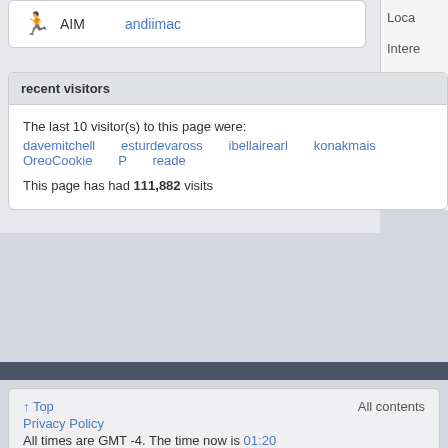AIM   andiimac
Loca
Intere
Occu
recent visitors
The last 10 visitor(s) to this page were:
davemitchell   esturdevaross   ibellairearl   konakmais   OreoCookie   P   reade
This page has had 111,882 visits
↑ Top   All contents
Privacy Policy
All times are GMT -4. The time now is 01:20 AM.